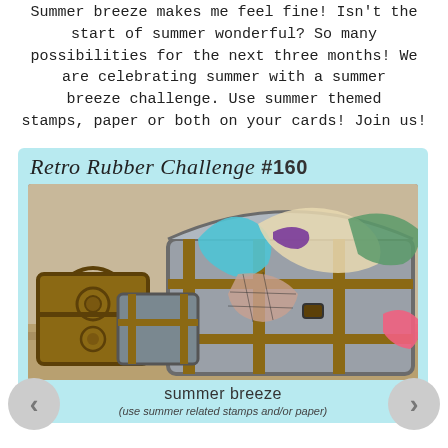Summer breeze makes me feel fine!  Isn't the start of summer wonderful?  So many possibilities for the next three months!  We are celebrating summer with a summer breeze challenge.  Use summer themed stamps, paper or both on your cards!  Join us!
[Figure (infographic): Retro Rubber Challenge #160 card with a photo of vintage suitcases overflowing with colorful clothes and accessories, labeled 'summer breeze (use summer related stamps and/or paper)']
summer breeze
(use summer related stamps and/or paper)